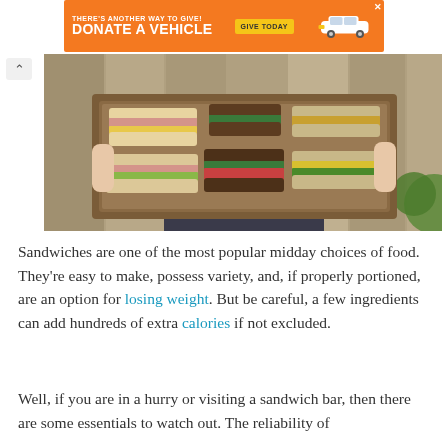[Figure (infographic): Orange advertisement banner: 'THERE'S ANOTHER WAY TO GIVE! DONATE A VEHICLE' with a yellow GIVE TODAY button and a white car illustration on the right. Close X in top-right corner.]
[Figure (photo): A person holding a large wooden tray filled with six assorted sandwiches on various types of bread including white, rye, and multigrain, with visible fillings like ham, cheese, tomatoes, and greens.]
Sandwiches are one of the most popular midday choices of food. They're easy to make, possess variety, and, if properly portioned, are an option for losing weight. But be careful, a few ingredients can add hundreds of extra calories if not excluded.
Well, if you are in a hurry or visiting a sandwich bar, then there are some essentials to watch out. The reliability of